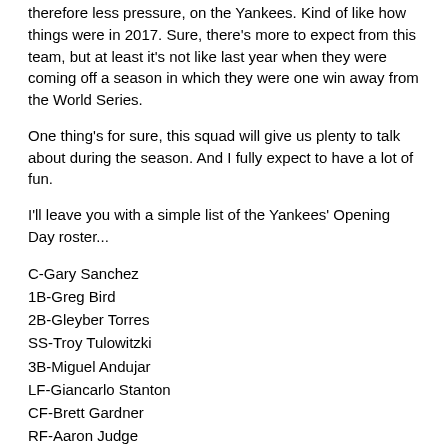therefore less pressure, on the Yankees. Kind of like how things were in 2017. Sure, there's more to expect from this team, but at least it's not like last year when they were coming off a season in which they were one win away from the World Series.
One thing's for sure, this squad will give us plenty to talk about during the season. And I fully expect to have a lot of fun.
I'll leave you with a simple list of the Yankees' Opening Day roster...
C-Gary Sanchez
1B-Greg Bird
2B-Gleyber Torres
SS-Troy Tulowitzki
3B-Miguel Andujar
LF-Giancarlo Stanton
CF-Brett Gardner
RF-Aaron Judge
DH-Luke Voit